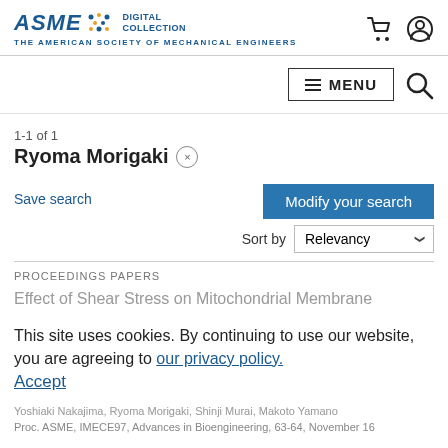[Figure (logo): ASME Digital Collection logo with text 'THE AMERICAN SOCIETY OF MECHANICAL ENGINEERS']
1-1 of 1
Ryoma Morigaki ×
Save search
Modify your search
Sort by Relevancy
PROCEEDINGS PAPERS
Effect of Shear Stress on Mitochondrial Membrane
This site uses cookies. By continuing to use our website, you are agreeing to our privacy policy. Accept
Proc. ASME, IMECE97, Advances in Bioengineering, 63-64, November 16…